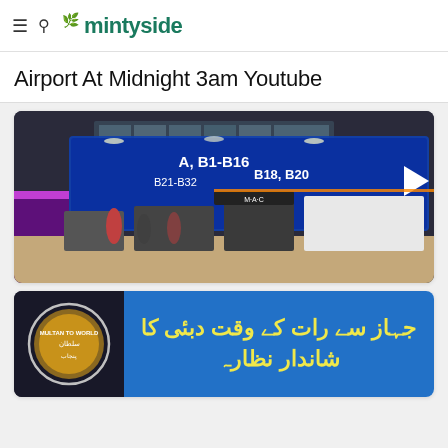≡ 🔍 mintyside
Airport At Midnight 3am Youtube
[Figure (photo): Interior of a busy airport terminal at night showing a duty-free shopping area with blue LED departure/arrival signage boards overhead showing gate numbers A, B18, B20, B21-B32, and an arrow. The terminal has multiple levels visible with shoppers and travelers walking.]
[Figure (photo): Thumbnail image showing a circular emblem/badge on a dark background on the left side, and on the right side a blue panel with yellow Urdu text reading: جہاز سے رات کے وقت دبئی کا شاندار نظارہ]